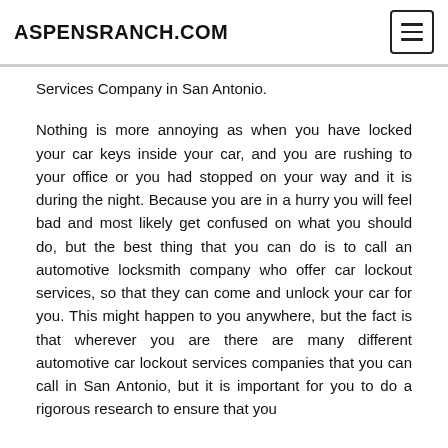ASPENSRANCH.COM
Services Company in San Antonio.
Nothing is more annoying as when you have locked your car keys inside your car, and you are rushing to your office or you had stopped on your way and it is during the night. Because you are in a hurry you will feel bad and most likely get confused on what you should do, but the best thing that you can do is to call an automotive locksmith company who offer car lockout services, so that they can come and unlock your car for you. This might happen to you anywhere, but the fact is that wherever you are there are many different automotive car lockout services companies that you can call in San Antonio, but it is important for you to do a rigorous research to ensure that you